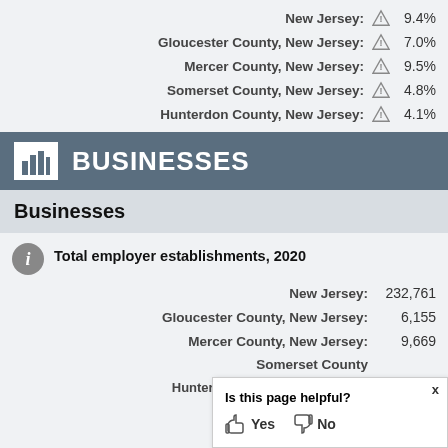New Jersey: 9.4%
Gloucester County, New Jersey: 7.0%
Mercer County, New Jersey: 9.5%
Somerset County, New Jersey: 4.8%
Hunterdon County, New Jersey: 4.1%
BUSINESSES
Businesses
Total employer establishments, 2020
New Jersey: 232,761
Gloucester County, New Jersey: 6,155
Mercer County, New Jersey: 9,669
Somerset County, New Jersey:
Hunterdon County, New Jersey: